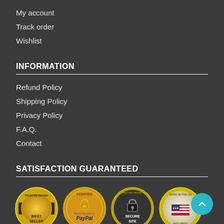My account
Track order
Wishlist
INFORMATION
Refund Policy
Shipping Policy
Privacy Policy
F.A.Q.
Contact
SATISFACTION GUARANTEED
[Figure (logo): Four trust badges: Trusted Brand Best Seller, Verified Secure Payments by PayPal, Verified 100% Secure Site, Made in the USA]